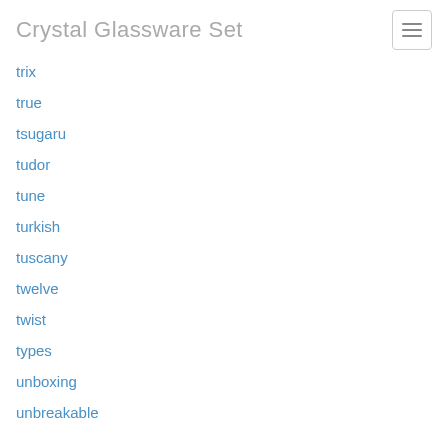Crystal Glassware Set
trix
true
tsugaru
tudor
tune
turkish
tuscany
twelve
twist
types
unboxing
unbreakable